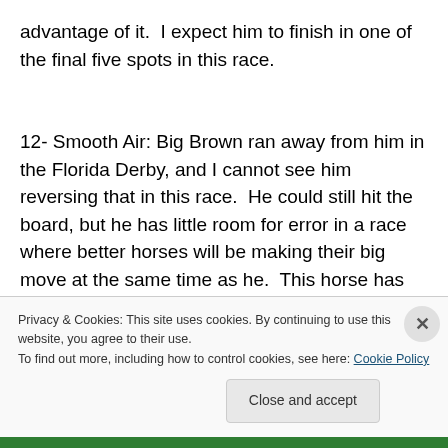advantage of it.  I expect him to finish in one of the final five spots in this race.

12- Smooth Air: Big Brown ran away from him in the Florida Derby, and I cannot see him reversing that in this race.  He could still hit the board, but he has little room for error in a race where better horses will be making their big move at the same time as he.  This horse has not been 100% this week, as he has run a fever.  I don't see him
Privacy & Cookies: This site uses cookies. By continuing to use this website, you agree to their use.
To find out more, including how to control cookies, see here: Cookie Policy
Close and accept
...